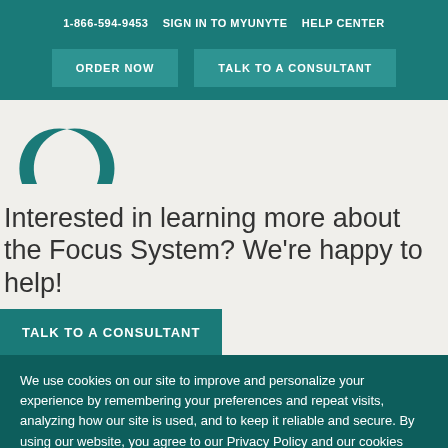1-866-594-9453   SIGN IN TO MYUNYTE   HELP CENTER
ORDER NOW   TALK TO A CONSULTANT
[Figure (logo): Teal leaf/plant logo mark showing two leaves forming a V shape]
Interested in learning more about the Focus System? We're happy to help!
TALK TO A CONSULTANT
We use cookies on our site to improve and personalize your experience by remembering your preferences and repeat visits, analyzing how our site is used, and to keep it reliable and secure. By using our website, you agree to our Privacy Policy and our cookies usage.
Cookie Settings   Accept All